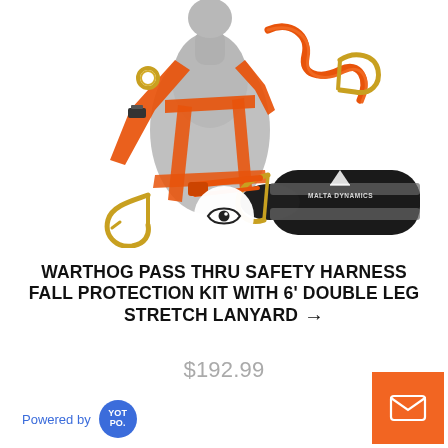[Figure (photo): Safety harness fall protection kit displayed on a mannequin torso with orange straps and a black Malta Dynamics duffel bag. Includes a double leg stretch lanyard with gold hooks. A circular eye/view icon button is overlaid on the product image.]
WARTHOG PASS THRU SAFETY HARNESS FALL PROTECTION KIT WITH 6' DOUBLE LEG STRETCH LANYARD →
$192.99
Powered by YOTPO.